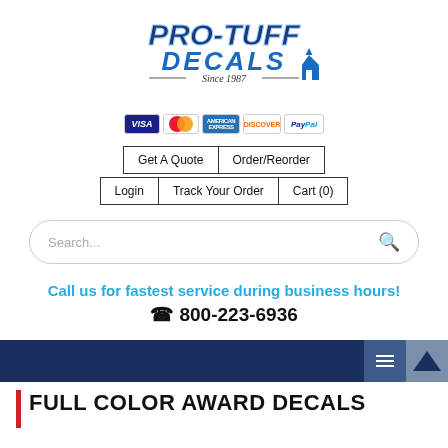[Figure (logo): Pro-Tuff Decals logo with 'Since 1987' tagline and payment icons (Visa, MasterCard, AmEx, Discover, PayPal)]
[Figure (screenshot): Navigation buttons: Get A Quote, Order/Reorder, Login, Track Your Order, Cart (0)]
[Figure (screenshot): Search bar with placeholder text 'Search...' and search icon]
Call us for fastest service during business hours!
☎ 800-223-6936
[Figure (screenshot): Dark navy navigation bar with hamburger menu and up-arrow triangle button]
FULL COLOR AWARD DECALS